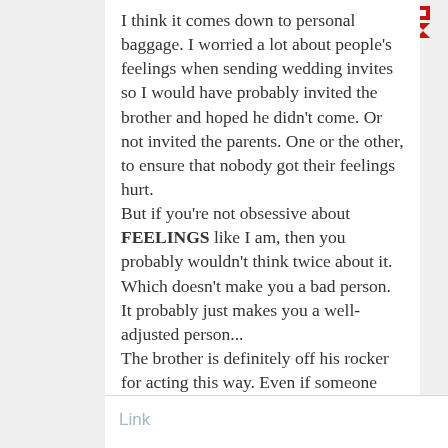I think it comes down to personal baggage. I worried a lot about people's feelings when sending wedding invites so I would have probably invited the brother and hoped he didn't come. Or not invited the parents. One or the other, to ensure that nobody got their feelings hurt. But if you're not obsessive about FEELINGS like I am, then you probably wouldn't think twice about it. Which doesn't make you a bad person. It probably just makes you a well-adjusted person... The brother is definitely off his rocker for acting this way. Even if someone does hurt your feelings, like.. just build a bridge buddy.
Link